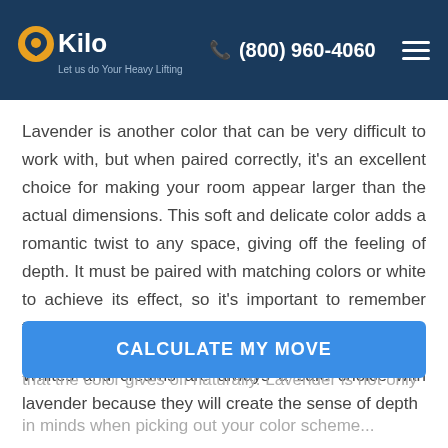Kilo — Let us do Your Heavy Lifting | (800) 960-4060
Lavender is another color that can be very difficult to work with, but when paired correctly, it's an excellent choice for making your room appear larger than the actual dimensions. This soft and delicate color adds a romantic twist to any space, giving off the feeling of depth. It must be paired with matching colors or white to achieve its effect, so it's important to remember this when choosing lavender.
Whites and creams are always a safe choice with lavender because they will create the sense of depth that the color gives off naturally. Lavender is not only in minds when picking out your color scheme...